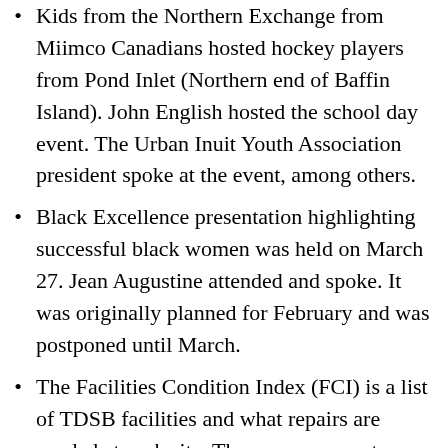Kids from the Northern Exchange from Miimco Canadians hosted hockey players from Pond Inlet (Northern end of Baffin Island). John English hosted the school day event. The Urban Inuit Youth Association president spoke at the event, among others.
Black Excellence presentation highlighting successful black women was held on March 27. Jean Augustine attended and spoke. It was originally planned for February and was postponed until March.
The Facilities Condition Index (FCI) is a list of TDSB facilities and what repairs are needed at each site. There was a recent article in the Etobicoke Guardian titled “Deteriorating Schools: What will reduce the Backlog”. It was published March 21, 2019. John English was part of this article. As a sponsor of the article, as it was dated...